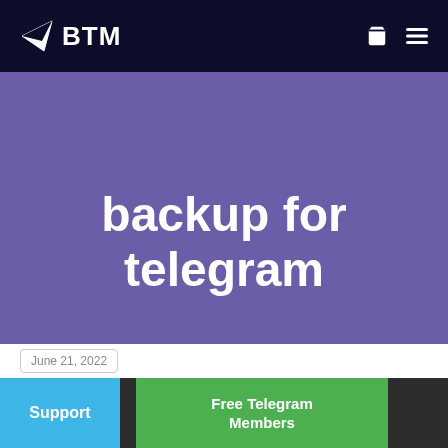BTM
backup for telegram
June 21, 2022
Support
Free Telegram Members